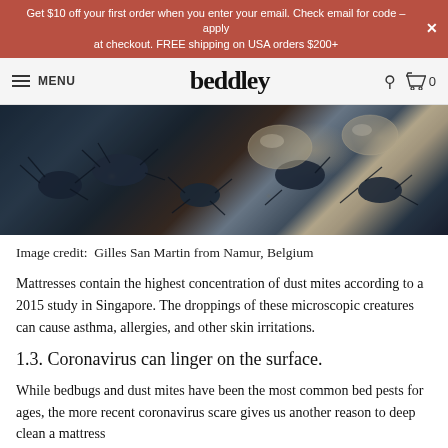Get $10 off your first order when you enter your email. Check email for code – apply at checkout. FREE shipping on USA orders $200+
beddley — MENU navigation bar
[Figure (photo): Close-up microscopic photo of dust mites, dark blue-black spiky creatures with translucent oval bodies visible]
Image credit:  Gilles San Martin from Namur, Belgium
Mattresses contain the highest concentration of dust mites according to a 2015 study in Singapore. The droppings of these microscopic creatures can cause asthma, allergies, and other skin irritations.
1.3. Coronavirus can linger on the surface.
While bedbugs and dust mites have been the most common bed pests for ages, the more recent coronavirus scare gives us another reason to deep clean a mattress